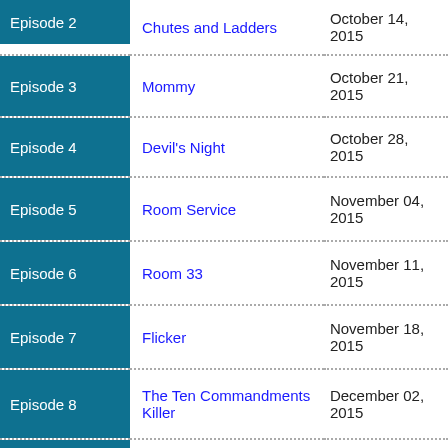| Episode | Title | Air Date |
| --- | --- | --- |
| Episode 2 | Chutes and Ladders | October 14, 2015 |
| Episode 3 | Mommy | October 21, 2015 |
| Episode 4 | Devil's Night | October 28, 2015 |
| Episode 5 | Room Service | November 04, 2015 |
| Episode 6 | Room 33 | November 11, 2015 |
| Episode 7 | Flicker | November 18, 2015 |
| Episode 8 | The Ten Commandments Killer | December 02, 2015 |
| Episode 9 |  |  |